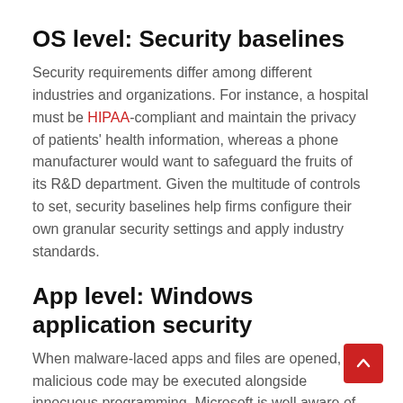OS level: Security baselines
Security requirements differ among different industries and organizations. For instance, a hospital must be HIPAA-compliant and maintain the privacy of patients' health information, whereas a phone manufacturer would want to safeguard the fruits of its R&D department. Given the multitude of controls to set, security baselines help firms configure their own granular security settings and apply industry standards.
App level: Windows application security
When malware-laced apps and files are opened, malicious code may be executed alongside innocuous programming. Microsoft is well aware of how hackers abuse Office macros and turn these into cyberattack vectors, so it developed Windows